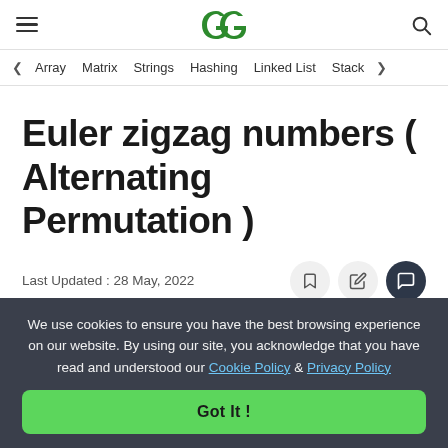GeeksforGeeks — hamburger menu, logo, search
< Array   Matrix   Strings   Hashing   Linked List   Stack >
Euler zigzag numbers ( Alternating Permutation )
Last Updated : 28 May, 2022
We use cookies to ensure you have the best browsing experience on our website. By using our site, you acknowledge that you have read and understood our Cookie Policy & Privacy Policy
Got It !